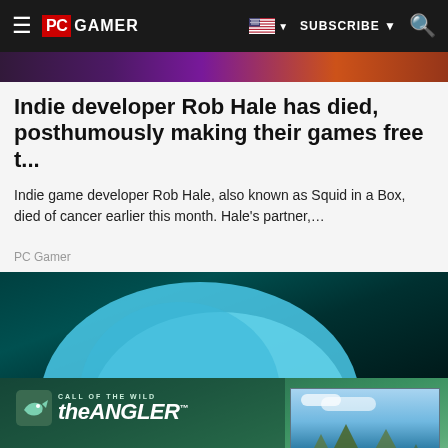PC GAMER — SUBSCRIBE
[Figure (screenshot): Partial hero image strip showing a dark gaming screenshot]
Indie developer Rob Hale has died, posthumously making their games free t...
Indie game developer Rob Hale, also known as Squid in a Box, died of cancer earlier this month. Hale's partner,...
PC Gamer
[Figure (photo): Partial photo showing a blue tent or fabric against a dark teal/green background]
[Figure (advertisement): Call of the Wild: the Angler game advertisement with logo, fishing scene screenshot, and 'Available Now on PC' button]